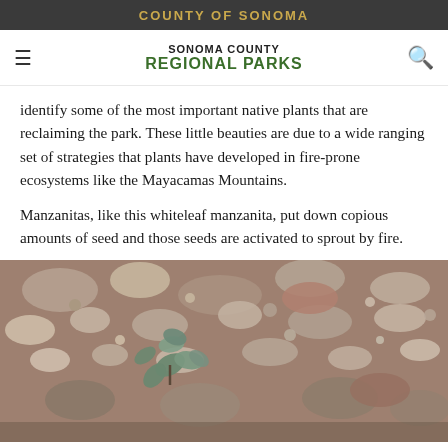COUNTY OF SONOMA
SONOMA COUNTY REGIONAL PARKS
identify some of the most important native plants that are reclaiming the park. These little beauties are due to a wide ranging set of strategies that plants have developed in fire-prone ecosystems like the Mayacamas Mountains.
Manzanitas, like this whiteleaf manzanita, put down copious amounts of seed and those seeds are activated to sprout by fire.
[Figure (photo): Close-up photo of a young whiteleaf manzanita plant growing among rocks and gravel on the ground after a fire.]